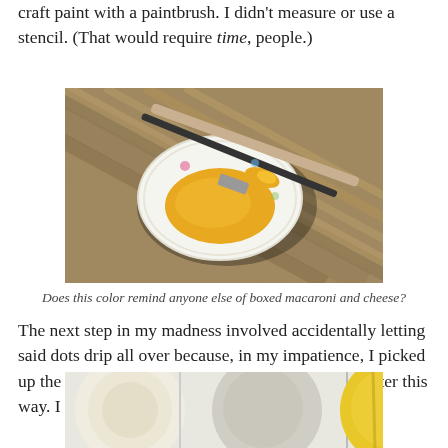craft paint with a paintbrush. I didn't measure or use a stencil. (That would require time, people.)
[Figure (photo): Photo of a paper plate with yellow/orange paint and a paintbrush resting on it, on a wooden deck surface.]
Does this color remind anyone else of boxed macaroni and cheese?
The next step in my madness involved accidentally letting said dots drip all over because, in my impatience, I picked up the thing before it was dry. Fail. (But I like it better this way. I am slob, hear me roar.)
[Figure (photo): Photo of painted circles/dots in white, gray, yellow, and blue colors with drips visible.]